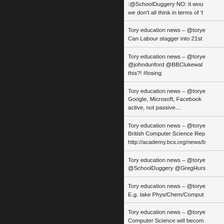[Figure (other): Dark/black left panel background]
:@SchoolDuggery NO: it wou... we don't all think in terms of 't...
Tory education news – @torye... Can Labour stagger into 21st...
Tory education news – @torye... @johndunford @BBClukewal... this?! #losing
Tory education news – @torye... Google, Microsoft, Facebook... active, not passive…
Tory education news – @torye... British Computer Science Rep... http://academy.bcs.org/news/b...
Tory education news – @torye... @SchoolDuggery @GregHurs...
Tory education news – @torye... E.g. take Phys/Chem/Comput...
Tory education news – @torye... Computer Science will becom...